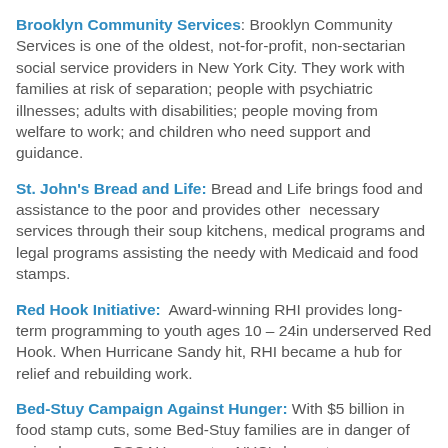Brooklyn Community Services: Brooklyn Community Services is one of the oldest, not-for-profit, non-sectarian social service providers in New York City. They work with families at risk of separation; people with psychiatric illnesses; adults with disabilities; people moving from welfare to work; and children who need support and guidance.
St. John's Bread and Life: Bread and Life brings food and assistance to the poor and provides other necessary services through their soup kitchens, medical programs and legal programs assisting the needy with Medicaid and food stamps.
Red Hook Initiative: Award-winning RHI provides long-term programming to youth ages 10 – 24in underserved Red Hook. When Hurricane Sandy hit, RHI became a hub for relief and rebuilding work.
Bed-Stuy Campaign Against Hunger: With $5 billion in food stamp cuts, some Bed-Stuy families are in danger of going hungry. BSCAH operates NYC's largest emergency food pantry. The organization also provides nutrition...